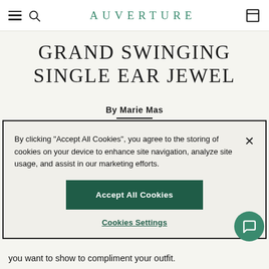AUVERTURE
GRAND SWINGING SINGLE EAR JEWEL
By Marie Mas
By clicking "Accept All Cookies", you agree to the storing of cookies on your device to enhance site navigation, analyze site usage, and assist in our marketing efforts.
Accept All Cookies
Cookies Settings
you want to show to compliment your outfit.